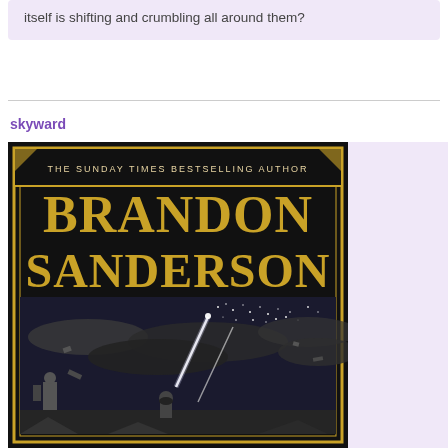itself is shifting and crumbling all around them?
skyward
[Figure (illustration): Book cover of 'Skyward' by Brandon Sanderson. Black background with gold art deco border. Title text reads 'THE SUNDAY TIMES BESTSELLING AUTHOR' and 'BRANDON SANDERSON' in large gold letters. Below is a black and white illustration of a figure looking up at a spaceship shooting upward through clouds toward a starfield.]